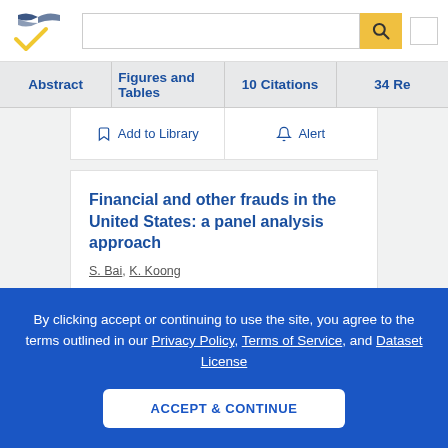Semantic Scholar — search bar and navigation
Abstract | Figures and Tables | 10 Citations | 34 Re...
Add to Library   Alert
Financial and other frauds in the United States: a panel analysis approach
S. Bai, K. Koong
By clicking accept or continuing to use the site, you agree to the terms outlined in our Privacy Policy, Terms of Service, and Dataset License
ACCEPT & CONTINUE